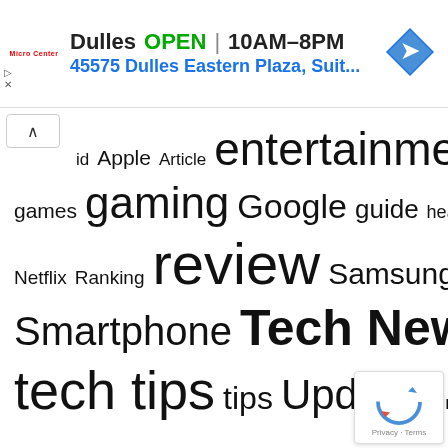[Figure (infographic): Google Maps ad banner for Micro Center Dulles store showing OPEN status, hours 10AM-8PM, address 45575 Dulles Eastern Plaza Suit., and navigation arrow icon]
[Figure (infographic): Tag cloud with technology-related tags in varying font sizes: id, Apple, Article, entertainment, gadget, games, gaming, Google, guide, headphone, Laptop, Netflix, Ranking, review, Samsung, Secret, Series, Smartphone, Tech News, Technology, tech tips, tips, Update, Windows, wireless]
[Figure (other): Google reCAPTCHA badge with Privacy and Terms links]